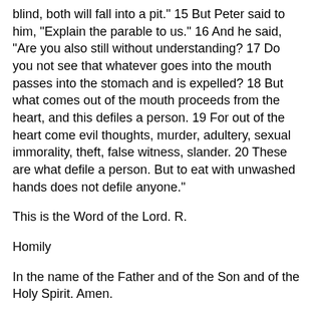blind, both will fall into a pit." 15 But Peter said to him, "Explain the parable to us." 16 And he said, "Are you also still without understanding? 17 Do you not see that whatever goes into the mouth passes into the stomach and is expelled? 18 But what comes out of the mouth proceeds from the heart, and this defiles a person. 19 For out of the heart come evil thoughts, murder, adultery, sexual immorality, theft, false witness, slander. 20 These are what defile a person. But to eat with unwashed hands does not defile anyone."
This is the Word of the Lord. R.
Homily
In the name of the Father and of the Son and of the Holy Spirit. Amen.
Out of the heart. There's the rub. Your heart is your "wanter," in the Bible way of thinking. It's the seat of your desires, the originator of what you want. And it's where the problem arises. You got a heart problem. Me too. And Jesus is at